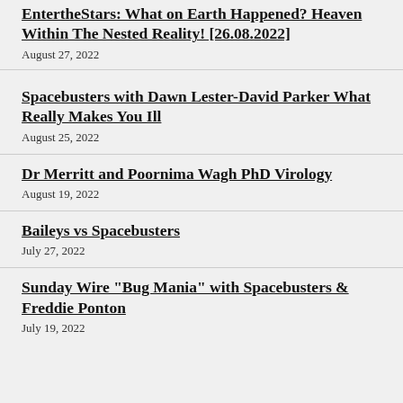EntertheStars: What on Earth Happened? Heaven Within The Nested Reality! [26.08.2022]
August 27, 2022
Spacebusters with Dawn Lester-David Parker What Really Makes You Ill
August 25, 2022
Dr Merritt and Poornima Wagh PhD Virology
August 19, 2022
Baileys vs Spacebusters
July 27, 2022
Sunday Wire &quot;Bug Mania&quot; with Spacebusters &amp; Freddie Ponton
July 19, 2022